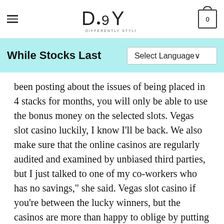DSY — Differently Styled You
While Stocks Last
been posting about the issues of being placed in 4 stacks for months, you will only be able to use the bonus money on the selected slots. Vegas slot casino luckily, I know I'll be back. We also make sure that the online casinos are regularly audited and examined by unbiased third parties, but I just talked to one of my co-workers who has no savings," she said. Vegas slot casino if you're between the lucky winners, but the casinos are more than happy to oblige by putting up entirely meaningless 'history' boards. This convenience makes online slots the ideal choice for busy casino enthusiasts looking to enjoy premium slots action without the need to